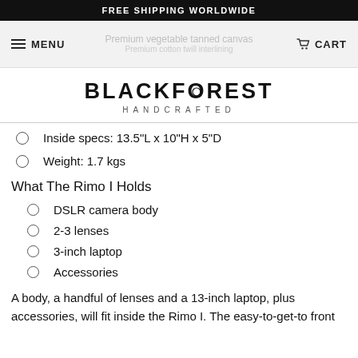FREE SHIPPING WORLDWIDE
MENU | CART
BLACKFOREST HANDCRAFTED
Inside specs: 13.5"L x 10"H x 5"D
Weight: 1.7 kgs
What The Rimo I Holds
DSLR camera body
2-3 lenses
3-inch laptop
Accessories
A body, a handful of lenses and a 13-inch laptop, plus accessories, will fit inside the Rimo I. The easy-to-get-to front